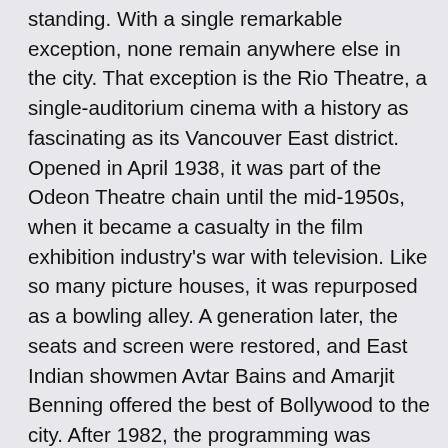standing. With a single remarkable exception, none remain anywhere else in the city. That exception is the Rio Theatre, a single-auditorium cinema with a history as fascinating as its Vancouver East district. Opened in April 1938, it was part of the Odeon Theatre chain until the mid-1950s, when it became a casualty in the film exhibition industry's war with television. Like so many picture houses, it was repurposed as a bowling alley. A generation later, the seats and screen were restored, and East Indian showmen Avtar Bains and Amarjit Benning offered the best of Bollywood to the city. After 1982, the programming was Chinese, in a movie house made notorious by a 1987 gang-related shooting. Following another period of darkness and a 2006 renovation by businessman Mukesh Goyal, the Rio was acquired by 38-year-old Corrine Lea, aka Shameless Lee, an artist/entrepreneur with a resume as colourful as the theatre itself. Since taking over in April 2008, Lea has taken hold of the half-full glass and, following an unprecedented two-year-long battle with B.C.'s liquor licensing laws, created a dynamic new business model for the province's still-surviving independents. Now operating as a multimedia